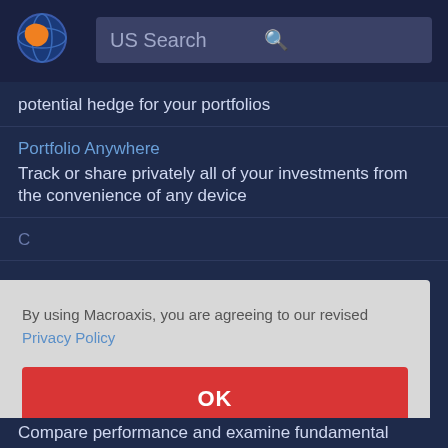[Figure (logo): Macroaxis globe logo with orange and blue colors]
US Search
potential hedge for your portfolios
Portfolio Anywhere
Track or share privately all of your investments from the convenience of any device
By using Macroaxis, you are agreeing to our revised Privacy Policy
OK
Compare performance and examine fundamental